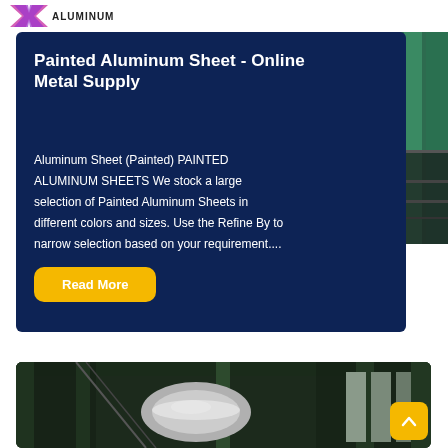ALUMINUM (logo)
Painted Aluminum Sheet - Online Metal Supply
Aluminum Sheet (Painted) PAINTED ALUMINUM SHEETS We stock a large selection of Painted Aluminum Sheets in different colors and sizes. Use the Refine By to narrow selection based on your requirement....
[Figure (photo): Photo of painted aluminum sheets stacked, green and dark colored sheets visible]
[Figure (photo): Photo of industrial metal supply warehouse interior with ductwork and aluminum materials]